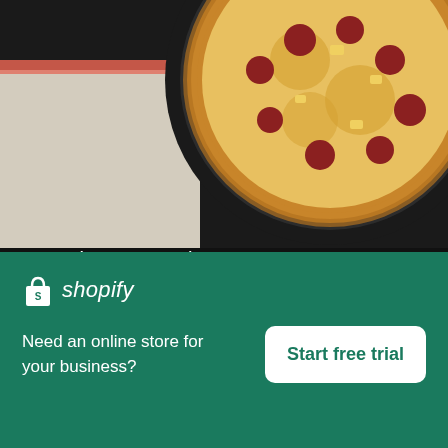[Figure (photo): Top-down photo of a pizza on a dark plate with pepperoni and pineapple toppings, alongside a notebook/paper on a dark background]
Hot Pizza From The Box
High resolution download ↓
[Figure (photo): Partial blurred photo showing a hand or soft object on a light background]
×
[Figure (logo): Shopify logo — shopping bag icon and italic 'shopify' wordmark in white]
Need an online store for your business?
Start free trial